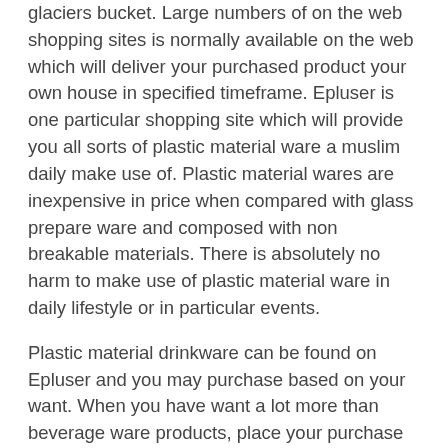glaciers bucket. Large numbers of on the web shopping sites is normally available on the web which will deliver your purchased product your own house in specified timeframe. Epluser is one particular shopping site which will provide you all sorts of plastic material ware a muslim daily make use of. Plastic material wares are inexpensive in price when compared with glass prepare ware and composed with non breakable materials. There is absolutely no harm to make use of plastic material ware in daily lifestyle or in particular events.
Plastic material drinkware can be found on Epluser and you may purchase based on your want. When you have want a lot more than beverage ware products, place your purchase and get verification message on your own registered mobile quantity. Different variety can be purchased in plastic material beverage ware with differing prices, you might choose the one which will suit for your pocket. Before putting your purchase, choose your preferred color as well as your preferred size of beverage wares in order that you will see no problem finally period. Drink wares with